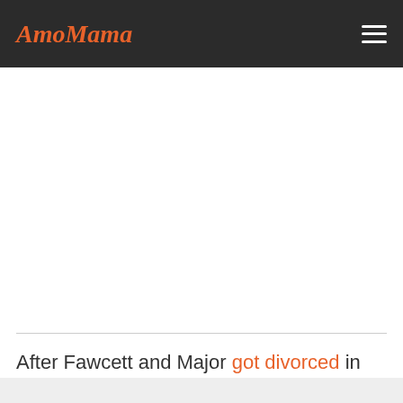AmoMama
After Fawcett and Major got divorced in 1982, she and